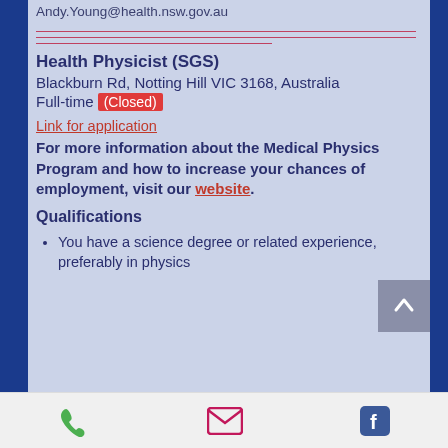Andy.Young@health.nsw.gov.au
Health Physicist (SGS)
Blackburn Rd, Notting Hill VIC 3168, Australia
Full-time (Closed)
Link for application
For more information about the Medical Physics Program and how to increase your chances of employment, visit our website.
Qualifications
You have a science degree or related experience, preferably in physics